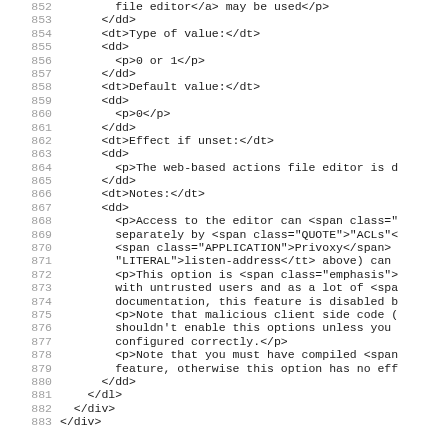Code listing lines 852-883, HTML/XML source code fragment showing file editor, type/default/effect/notes documentation
852:     file editor</a> may be used</p>
853:   </dd>
854:   <dt>Type of value:</dt>
855:   <dd>
856:     <p>0 or 1</p>
857:   </dd>
858:   <dt>Default value:</dt>
859:   <dd>
860:     <p>0</p>
861:   </dd>
862:   <dt>Effect if unset:</dt>
863:   <dd>
864:     <p>The web-based actions file editor is d
865:   </dd>
866:   <dt>Notes:</dt>
867:   <dd>
868:     <p>Access to the editor can <span class='
869:     separately by <span class="QUOTE">"ACLs"<
870:     <span class="APPLICATION">Privoxy</span>
871:     "LITERAL">listen-address</tt> above) can
872:     <p>This option is <span class="emphasis">
873:     with untrusted users and as a lot of <spa
874:     documentation, this feature is disabled b
875:     <p>Note that malicious client side code (
876:     shouldn't enable this options unless you
877:     configured correctly.</p>
878:     <p>Note that you must have compiled <span
879:     feature, otherwise this option has no eff
880:   </dd>
881:   </dl>
882:   </div>
883: </div>